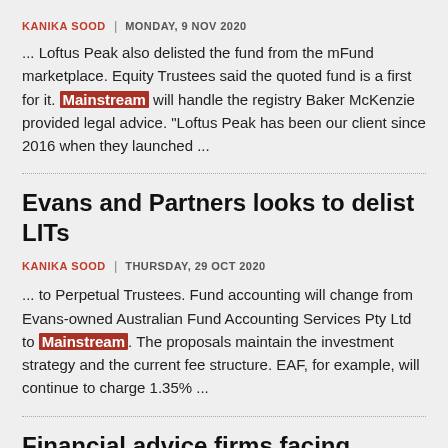KANIKA SOOD | MONDAY, 9 NOV 2020
... Loftus Peak also delisted the fund from the mFund marketplace. Equity Trustees said the quoted fund is a first for it. Mainstream will handle the registry Baker McKenzie provided legal advice. "Loftus Peak has been our client since 2016 when they launched ...
Evans and Partners looks to delist LITs
KANIKA SOOD | THURSDAY, 29 OCT 2020
... to Perpetual Trustees. Fund accounting will change from Evans-owned Australian Fund Accounting Services Pty Ltd to Mainstream. The proposals maintain the investment strategy and the current fee structure. EAF, for example, will continue to charge 1.35% ...
Financial advice firms facing failure: Dynamic Asset Consulting